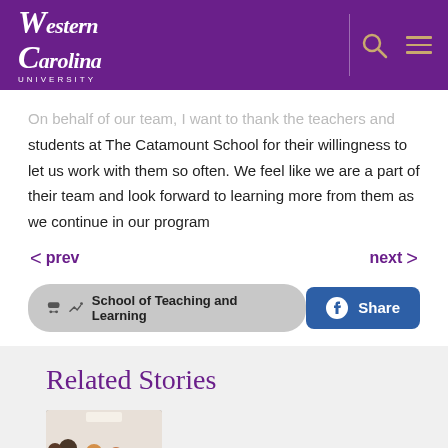Western Carolina University
On behalf of our team, I want to thank the teachers and students at The Catamount School for their willingness to let us work with them so often. We feel like we are a part of their team and look forward to learning more from them as we continue in our program
prev   next
School of Teaching and Learning   Share
Related Stories
[Figure (photo): Group photo of adults and children in a classroom setting]